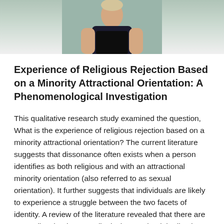[Figure (photo): Partial photo of a person (cropped, showing shoulders/neck area) holding a dark object, likely a book or folder, against a teal/grey background.]
Experience of Religious Rejection Based on a Minority Attractional Orientation: A Phenomenological Investigation
This qualitative research study examined the question, What is the experience of religious rejection based on a minority attractional orientation? The current literature suggests that dissonance often exists when a person identifies as both religious and with an attractional minority orientation (also referred to as sexual orientation). It further suggests that individuals are likely to experience a struggle between the two facets of identity. A review of the literature revealed that there are no studies that have qualitatively examined the lived experience of religious rejection based on attractional orientation.